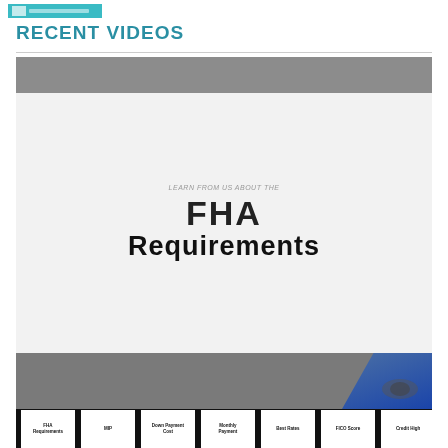RECENT VIDEOS
[Figure (screenshot): Video thumbnail showing 'FHA Requirements' text with blurred video player interface, top bar, main white area with large bold text reading 'LEARN FROM US ABOUT THE' and 'FHA Requirements', and a bottom grey bar with blue accent. A row of small thumbnails at bottom includes: FHA Requirements, MIP, Down Payment Cost, Monthly Payment, Best Rates, FICO Score, Credit High.]